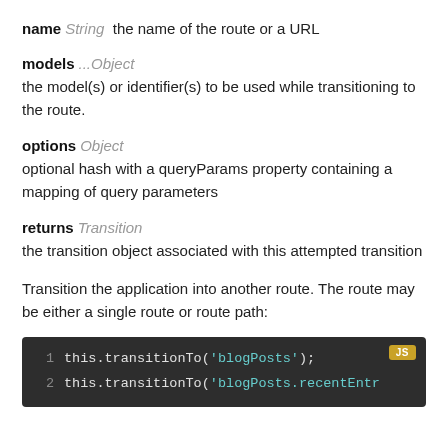name String  the name of the route or a URL
models ...Object
the model(s) or identifier(s) to be used while transitioning to the route.
options Object
optional hash with a queryParams property containing a mapping of query parameters
returns Transition
the transition object associated with this attempted transition
Transition the application into another route. The route may be either a single route or route path:
[Figure (screenshot): Code block with two lines of JavaScript: line 1: this.transitionTo('blogPosts'); line 2: this.transitionTo('blogPosts.recentEntr... with JS language badge]